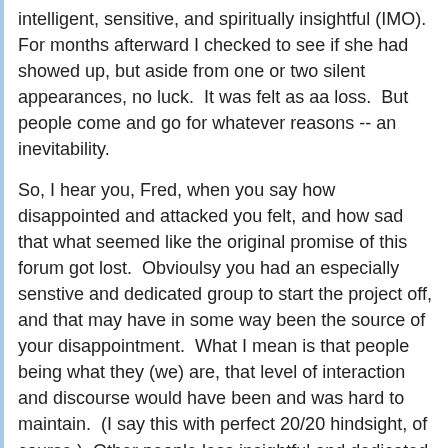intelligent, sensitive, and spiritually insightful (IMO).  For months afterward I checked to see if she had showed up, but aside from one or two silent appearances, no luck.  It was felt as aa loss.  But people come and go for whatever reasons -- an inevitability.
So, I hear you, Fred, when you say how disappointed and attacked you felt, and how sad that what seemed like the original promise of this forum got lost.  Obvioulsy you had an especially senstive and dedicated group to start the project off, and that may have in some way been the source of your disappointment.  What I mean is that people being what they (we) are, that level of interaction and discourse would have been and was hard to maintain.  (I say this with perfect 20/20 hindsight, of course.)  Other people less insightful and dedicated inevitably showed up, and all of us do have our shadow side anyhow, which you remind us of frequently.  So there's that subterranean pool of of impatience, judgment, and even anger that is bound to erupt from time to time.  And that's how it seems it happens: periodically someone says something that causes someone else to take issue in some unskillful way, and then we have a kind of purging where some people end up leaving.  This is how the world is.  We